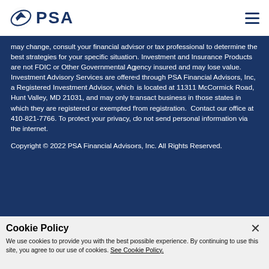[Figure (logo): PSA Financial Advisors logo with circular arrow emblem and PSA text in dark navy blue]
may change, consult your financial advisor or tax professional to determine the best strategies for your specific situation. Investment and Insurance Products are not FDIC or Other Governmental Agency insured and may lose value. Investment Advisory Services are offered through PSA Financial Advisors, Inc, a Registered Investment Advisor, which is located at 11311 McCormick Road, Hunt Valley, MD 21031, and may only transact business in those states in which they are registered or exempted from registration.  Contact our office at 410-821-7766. To protect your privacy, do not send personal information via the internet.
Copyright © 2022 PSA Financial Advisors, Inc. All Rights Reserved.
Cookie Policy
We use cookies to provide you with the best possible experience. By continuing to use this site, you agree to our use of cookies. See Cookie Policy.